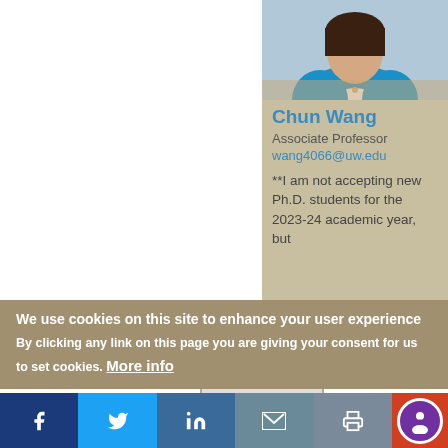[Figure (photo): Profile photo of Chun Wang, a woman in a blue blazer and white shirt with a necklace, against a light background.]
Chun Wang
Associate Professor
wang4066@uw.edu
**I am not accepting new Ph.D. students for the 2023-24 academic year, but
We use cookies on this site to enhance your user experience
By clicking any link on this page you are giving your consent for us to set cookies. More info